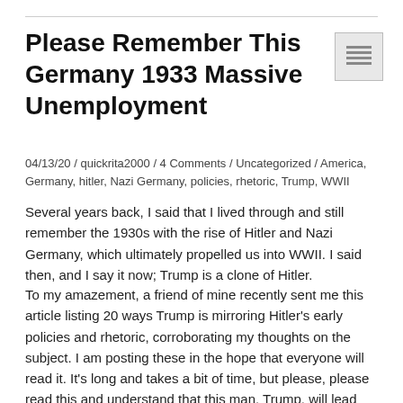Please Remember This Germany 1933 Massive Unemployment
04/13/20 / quickrita2000 / 4 Comments / Uncategorized / America, Germany, hitler, Nazi Germany, policies, rhetoric, Trump, WWII
Several years back, I said that I lived through and still remember the 1930s with the rise of Hitler and Nazi Germany, which ultimately propelled us into WWII. I said then, and I say it now; Trump is a clone of Hitler.
To my amazement, a friend of mine recently sent me this article listing 20 ways Trump is mirroring Hitler's early policies and rhetoric, corroborating my thoughts on the subject. I am posting these in the hope that everyone will read it. It's long and takes a bit of time, but please, please read this and understand that this man, Trump, will lead America down the path to its own destruction.